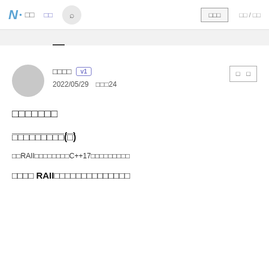N.□□ □□ □□□ □□□ □□/□□
□□□□ v1
2022/05/29 □□□24
□□□□□□□
□□□□□□□□□(□)
□□RAII□□□□□□□□C++17□□□□□□□□□
□□□□ RAII□□□□□□□□□□□□□□